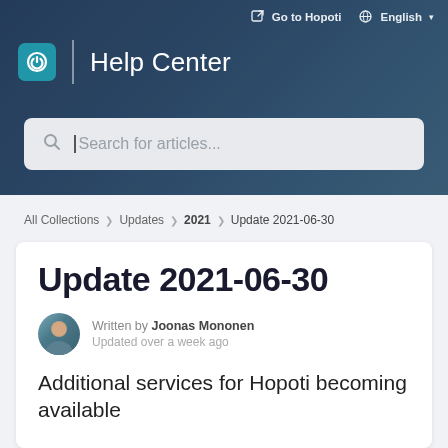Go to Hopoti   English
Help Center
[Figure (screenshot): Search bar with placeholder text 'Search for articles...']
All Collections > Updates > 2021 > Update 2021-06-30
Update 2021-06-30
Written by Joonas Mononen
Updated over a week ago
Additional services for Hopoti becoming available